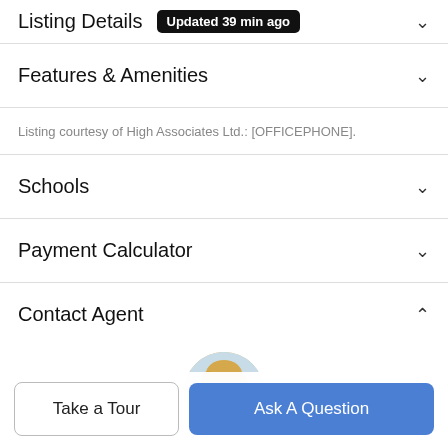Listing Details Updated 39 min ago
Features & Amenities
Listing courtesy of High Associates Ltd.: [OFFICEPHONE].
Schools
Payment Calculator
Contact Agent
[Figure (photo): Circular profile photo of a female real estate agent with blonde hair holding a dog]
Take a Tour
Ask A Question